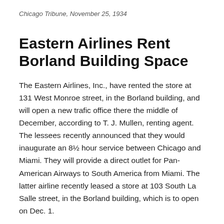Chicago Tribune, November 25, 1934
Eastern Airlines Rent Borland Building Space
The Eastern Airlines, Inc., have rented the store at 131 West Monroe street, in the Borland building, and will open a new trafic office there the middle of December, according to T. J. Mullen, renting agent. The lessees recently announced that they would inaugurate an 8½ hour service between Chicago and Miami. They will provide a direct outlet for Pan-American Airways to South America from Miami. The latter airline recently leased a store at 103 South La Salle street, in the Borland building, which is to open on Dec. 1.